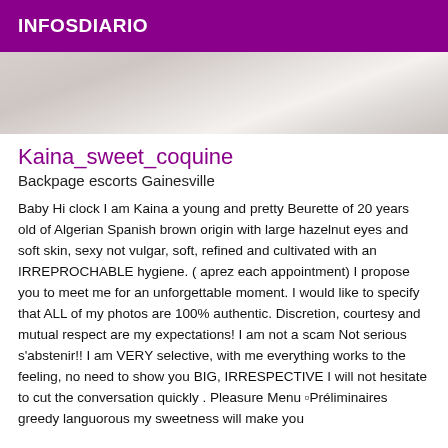INFOSDIARIO
[Figure (photo): Partial photo showing white fabric or clothing, cropped at the top of the content area]
Kaina_sweet_coquine
Backpage escorts Gainesville
Baby Hi clock I am Kaina a young and pretty Beurette of 20 years old of Algerian Spanish brown origin with large hazelnut eyes and soft skin, sexy not vulgar, soft, refined and cultivated with an IRREPROCHABLE hygiene. ( aprez each appointment) I propose you to meet me for an unforgettable moment. I would like to specify that ALL of my photos are 100% authentic. Discretion, courtesy and mutual respect are my expectations! I am not a scam Not serious s'abstenir!! I am VERY selective, with me everything works to the feeling, no need to show you BIG, IRRESPECTIVE I will not hesitate to cut the conversation quickly . Pleasure Menu ▫Préliminaires greedy languorous my sweetness will make you